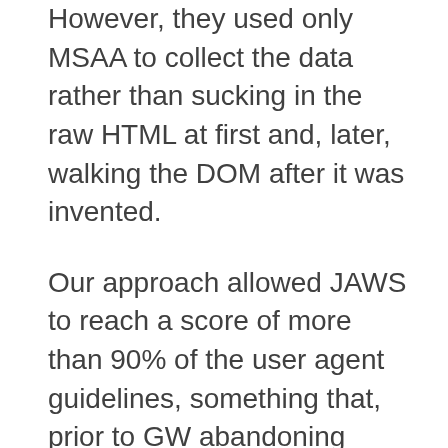However, they used only MSAA to collect the data rather than sucking in the raw HTML at first and, later, walking the DOM after it was invented.
Our approach allowed JAWS to reach a score of more than 90% of the user agent guidelines, something that, prior to GW abandoning MSAA on the web and taking up the DOM strategy that we invented, could not do. In fact, GW, if my memory serves, never broke 60% of the UAG during my tenure at FS and